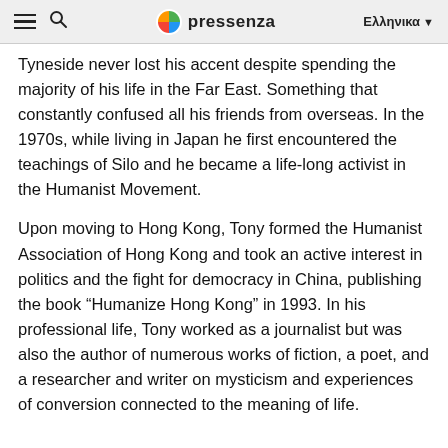pressenza | Ελληνικα
Tyneside never lost his accent despite spending the majority of his life in the Far East. Something that constantly confused all his friends from overseas. In the 1970s, while living in Japan he first encountered the teachings of Silo and he became a life-long activist in the Humanist Movement.
Upon moving to Hong Kong, Tony formed the Humanist Association of Hong Kong and took an active interest in politics and the fight for democracy in China, publishing the book “Humanize Hong Kong” in 1993. In his professional life, Tony worked as a journalist but was also the author of numerous works of fiction, a poet, and a researcher and writer on mysticism and experiences of conversion connected to the meaning of life.
...